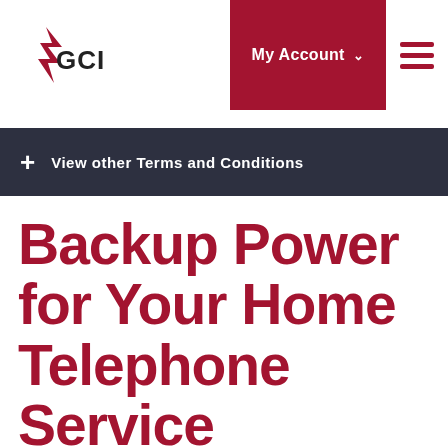[Figure (logo): GCI logo with lightning bolt star icon]
My Account
+ View other Terms and Conditions
Backup Power for Your Home Telephone Service